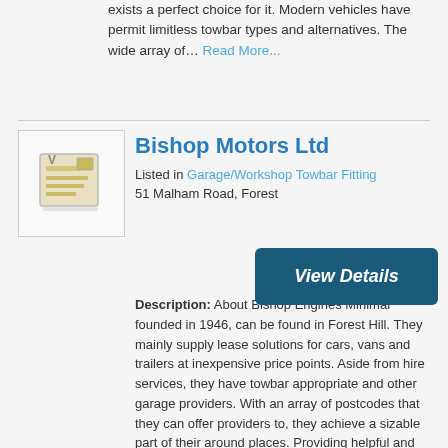exists a perfect choice for it. Modern vehicles have permit limitless towbar types and alternatives. The wide array of… Read More...
[Figure (illustration): Placeholder listing logo showing a document/card icon with lines, yellow-toned illustration]
Bishop Motors Ltd
Listed in Garage/Workshop Towbar Fitting
51 Malham Road, Forest
View Details
Description: About Bishop Engines Minimal founded in 1946, can be found in Forest Hill. They mainly supply lease solutions for cars, vans and trailers at inexpensive price points. Aside from hire services, they have towbar appropriate and other garage providers. With an array of postcodes that they can offer providers to, they achieve a sizable part of their around places. Providing helpful and straightforward service to these. What they do Bishop Motors Limited provides insurance professional services about the engine leases. The insurance coverage charges are inclusive of the Accident Damage Waiver. The insurance plan include is unique of individual damage about the vehicle. The include is relevant